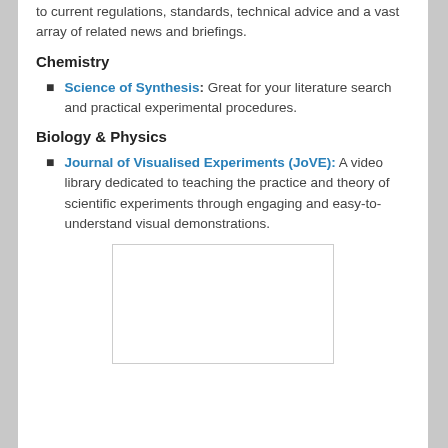to current regulations, standards, technical advice and a vast array of related news and briefings.
Chemistry
Science of Synthesis: Great for your literature search and practical experimental procedures.
Biology & Physics
Journal of Visualised Experiments (JoVE): A video library dedicated to teaching the practice and theory of scientific experiments through engaging and easy-to-understand visual demonstrations.
[Figure (other): Blank white image box with light grey border]